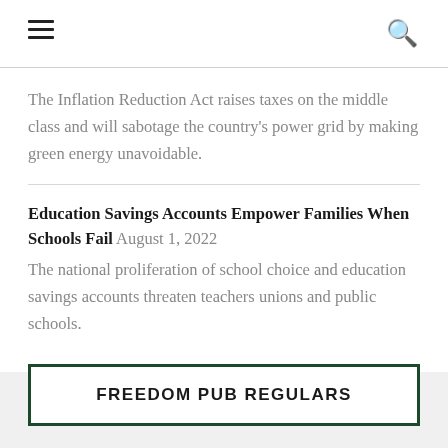☰  🔍
The Inflation Reduction Act raises taxes on the middle class and will sabotage the country's power grid by making green energy unavoidable.
Education Savings Accounts Empower Families When Schools Fail August 1, 2022
The national proliferation of school choice and education savings accounts threaten teachers unions and public schools.
FREEDOM PUB REGULARS